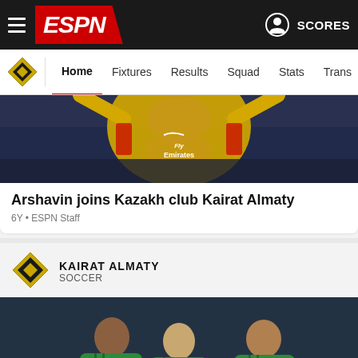ESPN — SCORES
Home | Fixtures | Results | Squad | Stats | Transfers | More
[Figure (photo): Arsenal player in yellow Fly Emirates kit raising arms]
Arshavin joins Kazakh club Kairat Almaty
6Y • ESPN Staff
[Figure (logo): Kairat Almaty diamond logo]
KAIRAT ALMATY
SOCCER
[Figure (photo): Three soccer players in green Kairat Almaty jerseys with nuvi sponsor]